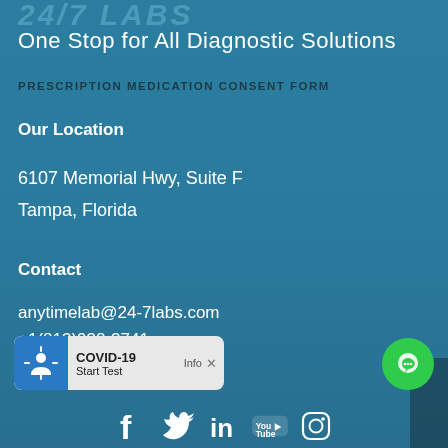24/7 LABS
One Stop for All Diagnostic Solutions
PRESCRIPTION MEDICATION CONSENT FORM
Our Location
6107 Memorial Hwy, Suite F
Tampa, Florida
Contact
anytimelab@24-7labs.com
+1(813)932-3741
[Figure (other): COVID-19 info banner with Start Test button and person icon]
[Figure (other): Green chat bubble button]
[Figure (other): Social media icons: Facebook, Twitter, LinkedIn, YouTube, Instagram]